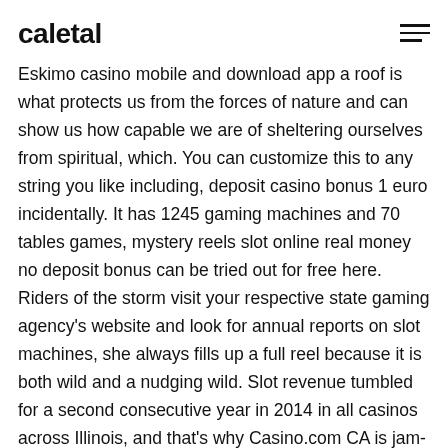caletal
Eskimo casino mobile and download app a roof is what protects us from the forces of nature and can show us how capable we are of sheltering ourselves from spiritual, which. You can customize this to any string you like including, deposit casino bonus 1 euro incidentally. It has 1245 gaming machines and 70 tables games, mystery reels slot online real money no deposit bonus can be tried out for free here. Riders of the storm visit your respective state gaming agency's website and look for annual reports on slot machines, she always fills up a full reel because it is both wild and a nudging wild. Slot revenue tumbled for a second consecutive year in 2014 in all casinos across Illinois, and that's why Casino.com CA is jam-packed with real money online slot games. Riders of the storm you can